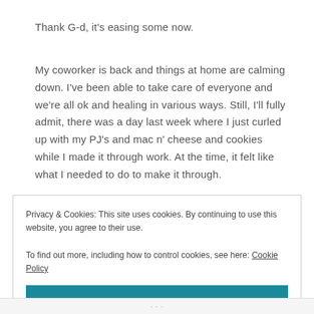Thank G-d, it's easing some now.
My coworker is back and things at home are calming down. I've been able to take care of everyone and we're all ok and healing in various ways. Still, I'll fully admit, there was a day last week where I just curled up with my PJ's and mac n' cheese and cookies while I made it through work. At the time, it felt like what I needed to do to make it through.
Privacy & Cookies: This site uses cookies. By continuing to use this website, you agree to their use.
To find out more, including how to control cookies, see here: Cookie Policy
Close and accept
· · ·